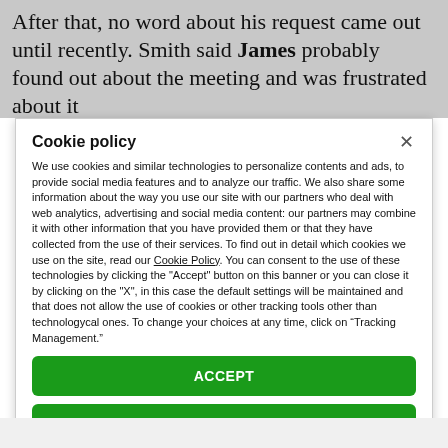After that, no word about his request came out until recently. Smith said James probably found out about the meeting and was frustrated about it
Cookie policy
We use cookies and similar technologies to personalize contents and ads, to provide social media features and to analyze our traffic. We also share some information about the way you use our site with our partners who deal with web analytics, advertising and social media content: our partners may combine it with other information that you have provided them or that they have collected from the use of their services. To find out in detail which cookies we use on the site, read our Cookie Policy. You can consent to the use of these technologies by clicking the "Accept" button on this banner or you can close it by clicking on the "X", in this case the default settings will be maintained and that does not allow the use of cookies or other tracking tools other than technologycal ones. To change your choices at any time, click on “Tracking Management.”
ACCEPT
TRACKERS MANAGEMENT
Show vendors | Show purposes